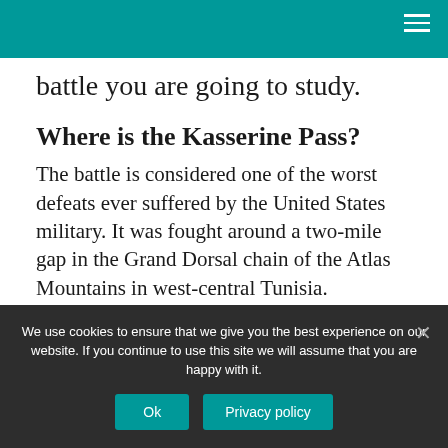battle you are going to study.
Where is the Kasserine Pass?
The battle is considered one of the worst defeats ever suffered by the United States military. It was fought around a two-mile gap in the Grand Dorsal chain of the Atlas Mountains in west-central Tunisia.
What is Army battle analysis?
We use cookies to ensure that we give you the best experience on our website. If you continue to use this site we will assume that you are happy with it.